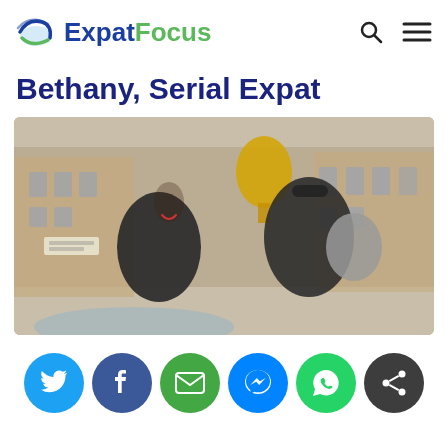ExpatFocus
Bethany, Serial Expat
[Figure (photo): A smiling family of three — a woman, a man wearing sunglasses, and a young child — posing outdoors in front of a historic building with a golden statue. The atmosphere is festive and sunny.]
Social sharing buttons: Twitter, Facebook, Email, Messenger, WhatsApp, Share